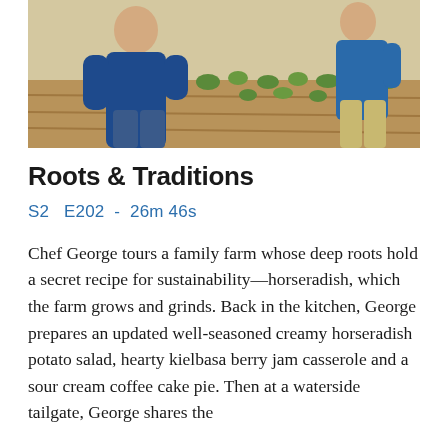[Figure (photo): Two people in blue shirts standing in a farm field with rows of green leafy plants growing in brown soil]
Roots & Traditions
S2  E202  -  26m 46s
Chef George tours a family farm whose deep roots hold a secret recipe for sustainability—horseradish, which the farm grows and grinds. Back in the kitchen, George prepares an updated well-seasoned creamy horseradish potato salad, hearty kielbasa berry jam casserole and a sour cream coffee cake pie. Then at a waterside tailgate, George shares the